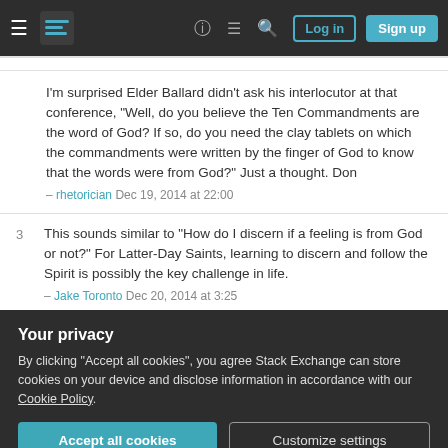Stack Exchange navigation bar with hamburger menu, logo, help, chat, search icons, Log in and Sign up buttons
I'm surprised Elder Ballard didn't ask his interlocutor at that conference, "Well, do you believe the Ten Commandments are the word of God? If so, do you need the clay tablets on which the commandments were written by the finger of God to know that the words were from God?" Just a thought. Don – rhetorician Dec 19, 2014 at 22:00
3 This sounds similar to "How do I discern if a feeling is from God or not?" For Latter-Day Saints, learning to discern and follow the Spirit is possibly the key challenge in life. – Jake Toronto Dec 20, 2014 at 3:25
Newsroom is the media outlet for the LDS Church and Elder
Your privacy
By clicking "Accept all cookies", you agree Stack Exchange can store cookies on your device and disclose information in accordance with our Cookie Policy.
Accept all cookies  Customize settings